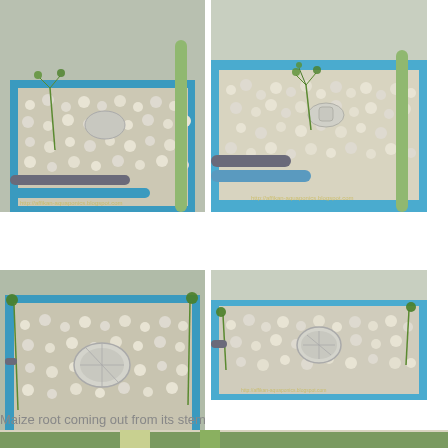[Figure (photo): Top-down angled view of a blue aquaponics/hydroponics tray filled with white pebbles/gravel, small green plants with feathery leaves, grey PVC pipes, and a white plastic strainer/bell siphon in the center. Photo has a watermark at the bottom.]
[Figure (photo): Top-down view of a blue aquaponics/hydroponics tray filled with white pebbles/gravel, small green feathery-leafed plants around the edges, a white dome-shaped bell siphon/strainer in the center, grey PVC pipes visible on the left. Photo has a watermark at the bottom.]
Maize root coming out from its stem
[Figure (photo): Partial bottom photo showing close-up of plant stems/roots, partially cut off at page bottom.]